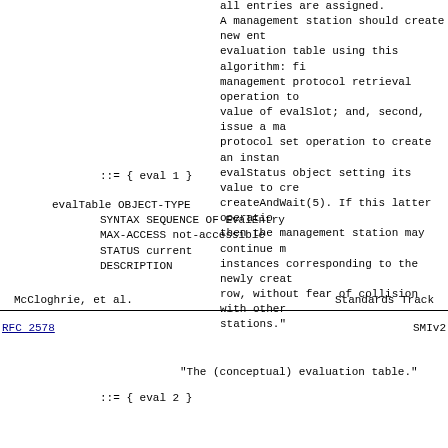all entries are assigned.
A management station should create new entries in the evaluation table using this algorithm: first, issue a management protocol retrieval operation to determine the value of evalSlot; and, second, issue a management protocol set operation to create an instance of the evalStatus object setting its value to createAndWait(5). If this latter operation succeeds, then the management station may continue modifying the instances corresponding to the newly created conceptual row, without fear of collision with other management stations.
::= { eval 1 }
evalTable OBJECT-TYPE
     SYNTAX        SEQUENCE OF EvalEntry
     MAX-ACCESS    not-accessible
     STATUS        current
     DESCRIPTION
McCloghrie, et al.          Standards Track
RFC 2578                          SMIv2
"The (conceptual) evaluation table."
::= { eval 2 }